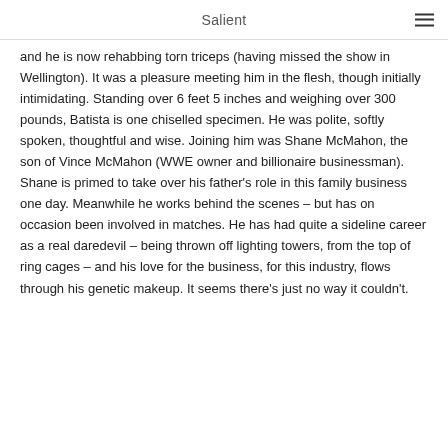Salient
and he is now rehabbing torn triceps (having missed the show in Wellington). It was a pleasure meeting him in the flesh, though initially intimidating. Standing over 6 feet 5 inches and weighing over 300 pounds, Batista is one chiselled specimen. He was polite, softly spoken, thoughtful and wise. Joining him was Shane McMahon, the son of Vince McMahon (WWE owner and billionaire businessman). Shane is primed to take over his father’s role in this family business one day. Meanwhile he works behind the scenes – but has on occasion been involved in matches. He has had quite a sideline career as a real daredevil – being thrown off lighting towers, from the top of ring cages – and his love for the business, for this industry, flows through his genetic makeup. It seems there's just no way it couldn't.